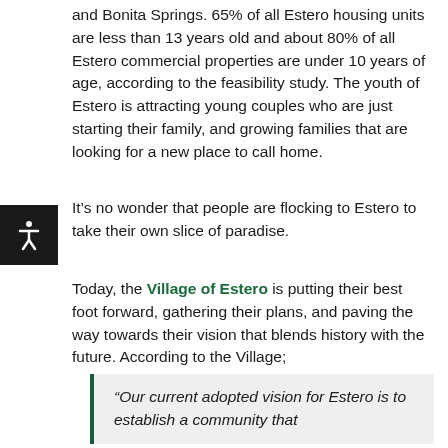and Bonita Springs. 65% of all Estero housing units are less than 13 years old and about 80% of all Estero commercial properties are under 10 years of age, according to the feasibility study. The youth of Estero is attracting young couples who are just starting their family, and growing families that are looking for a new place to call home.
It’s no wonder that people are flocking to Estero to take their own slice of paradise.
Today, the Village of Estero is putting their best foot forward, gathering their plans, and paving the way towards their vision that blends history with the future. According to the Village;
“Our current adopted vision for Estero is to establish a community that